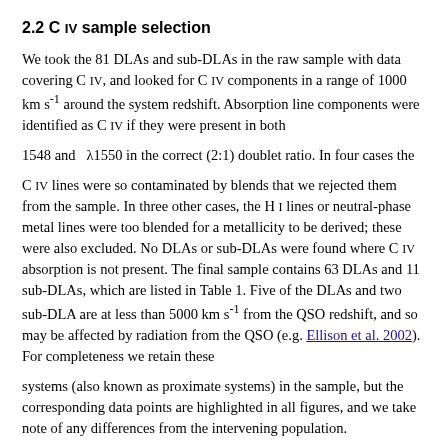2.2 C IV sample selection
We took the 81 DLAs and sub-DLAs in the raw sample with data covering C IV, and looked for C IV components in a range of 1000 km s⁻¹ around the system redshift. Absorption line components were identified as C IV if they were present in both
1548 and λ1550 in the correct (2:1) doublet ratio. In four cases the
C IV lines were so contaminated by blends that we rejected them from the sample. In three other cases, the H I lines or neutral-phase metal lines were too blended for a metallicity to be derived; these were also excluded. No DLAs or sub-DLAs were found where C IV absorption is not present. The final sample contains 63 DLAs and 11 sub-DLAs, which are listed in Table 1. Five of the DLAs and two sub-DLA are at less than 5000 km s⁻¹ from the QSO redshift, and so may be affected by radiation from the QSO (e.g. Ellison et al. 2002). For completeness we retain these
systems (also known as proximate systems) in the sample, but the corresponding data points are highlighted in all figures, and we take note of any differences from the intervening population.
2.3 Measurement